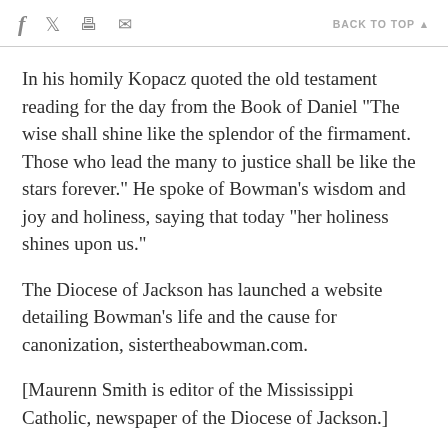f  [twitter]  [print]  [email]   BACK TO TOP ▲
In his homily Kopacz quoted the old testament reading for the day from the Book of Daniel "The wise shall shine like the splendor of the firmament. Those who lead the many to justice shall be like the stars forever." He spoke of Bowman's wisdom and joy and holiness, saying that today "her holiness shines upon us."
The Diocese of Jackson has launched a website detailing Bowman's life and the cause for canonization, sistertheabowman.com.
[Maurenn Smith is editor of the Mississippi Catholic, newspaper of the Diocese of Jackson.]